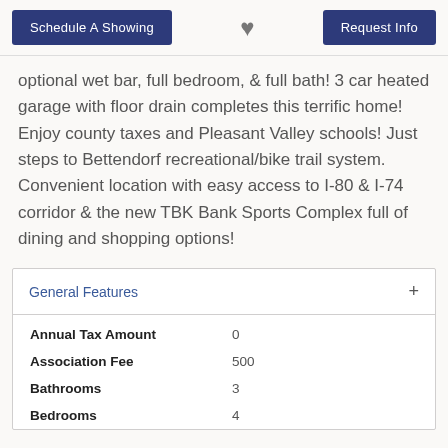Schedule A Showing | [heart] | Request Info
optional wet bar, full bedroom, & full bath! 3 car heated garage with floor drain completes this terrific home! Enjoy county taxes and Pleasant Valley schools! Just steps to Bettendorf recreational/bike trail system. Convenient location with easy access to I-80 & I-74 corridor & the new TBK Bank Sports Complex full of dining and shopping options!
General Features
| Feature | Value |
| --- | --- |
| Annual Tax Amount | 0 |
| Association Fee | 500 |
| Bathrooms | 3 |
| Bedrooms | 4 |